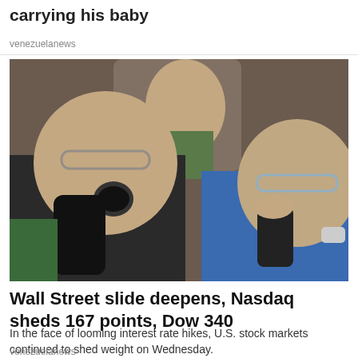carrying his baby
venezuelanews
[Figure (photo): Two stock traders on the floor of a stock exchange, both on phones, looking stressed. A man on the left yells into a black phone receiver while a gray-haired man on the right holds a smaller phone to his mouth. A younger man is visible in the background looking at a screen.]
Wall Street slide deepens, Nasdaq sheds 167 points, Dow 340
In the face of looming interest rate hikes, U.S. stock markets continued to shed weight on Wednesday.
venezuelanews